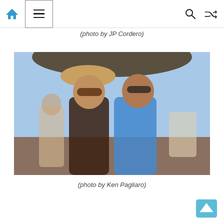Navigation bar with home icon, menu icon, search icon, shuffle icon
(photo by JP Cordero)
[Figure (photo): Two young women in sunglasses posing together at an outdoor beach bar/event on a sunny day. The woman on the left wears a tan cowboy hat and brown fringed bikini top; the woman on the right wears a blue floral bikini top. Other people and a large patio umbrella are visible in the background.]
(photo by Ken Pagliaro)